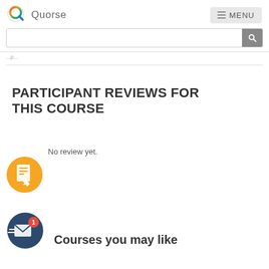Quorse
No review yet.
PARTICIPANT REVIEWS FOR THIS COURSE
[Figure (illustration): Orange circular icon with a document/notepad and pencil symbol]
[Figure (illustration): Dark blue circular icon with envelope/mail symbol and red badge showing number 1]
Courses you may like